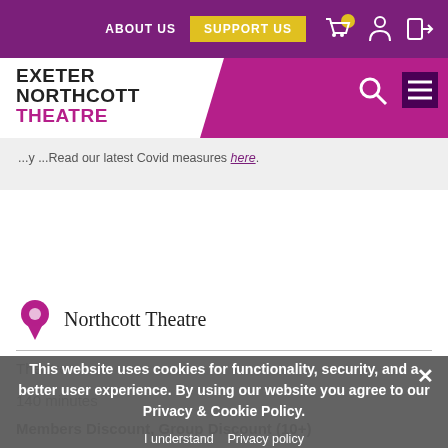ABOUT US  SUPPORT US
EXETER NORTHCOTT THEATRE
...y...Read our latest Covid measures here.
Northcott Theatre
Theatre
140 minutes
Members Discount, Group Discount (10+)
This website uses cookies for functionality, security, and a better user experience. By using our website you agree to our Privacy & Cookie Policy.
I understand   Privacy policy